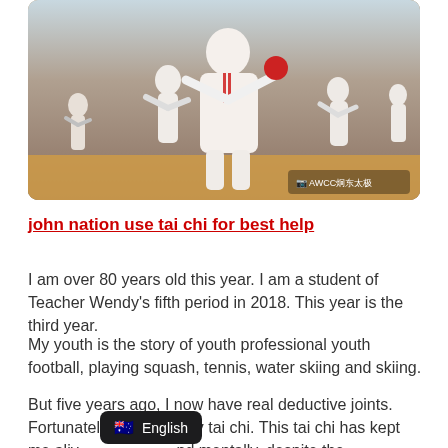[Figure (photo): Group of people practicing tai chi in white uniforms with red accents in an indoor gymnasium. A watermark reads 'AWCC炯东太极' in the bottom right corner.]
john nation use tai chi for best help
I am over 80 years old this year. I am a student of Teacher Wendy's fifth period in 2018. This year is the third year.
My youth is the story of youth professional youth football, playing squash, tennis, water skiing and skiing.
But five years ago, I now have real deductive joints. Fortunately, I am already tai chi. This tai chi has kept me alive and mentally, despite the combination.